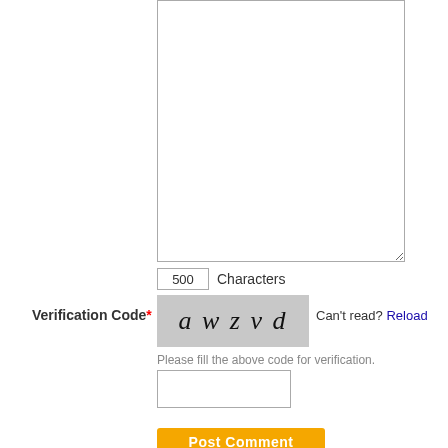[Figure (screenshot): Empty textarea input box for comment text]
500 Characters
Verification Code*
[Figure (screenshot): CAPTCHA image showing italic text 'a w z v d' on grey background]
Can't read? Reload
Please fill the above code for verification.
[Figure (screenshot): Empty text input box for verification code entry]
Post Comment